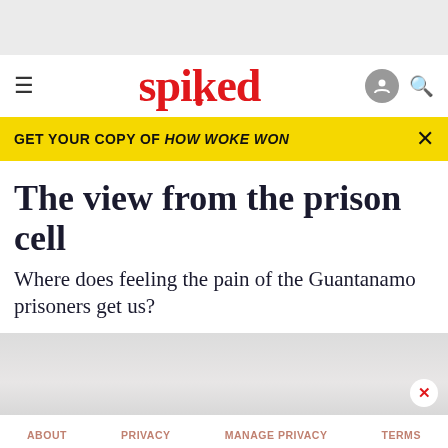[Figure (other): Gray advertisement banner placeholder at top of page]
spiked
GET YOUR COPY OF HOW WOKE WON
The view from the prison cell
Where does feeling the pain of the Guantanamo prisoners get us?
[Figure (photo): Faded grayscale background image area, partially visible]
ABOUT   PRIVACY   MANAGE PRIVACY   TERMS